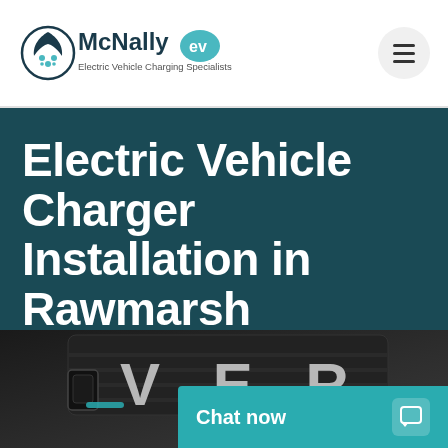[Figure (logo): McNally EV logo — Electric Vehicle Charging Specialists with circular leaf/molecule icon and teal 'ev' badge]
Electric Vehicle Charger Installation in Rawmarsh
[Figure (photo): Close-up photograph of an electric vehicle charging port area near the front grille of a Land Rover, showing the EV charging connector with blue accent lighting]
Chat now